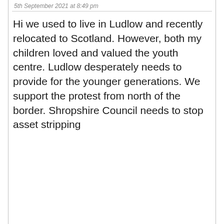5th September 2021 at 8:49 pm
Hi we used to live in Ludlow and recently relocated to Scotland. However, both my children loved and valued the youth centre. Ludlow desperately needs to provide for the younger generations. We support the protest from north of the border. Shropshire Council needs to stop asset stripping
Privacy & Cookies: This site uses cookies. By continuing to use this website, you agree to their use.
To find out more, including how to control cookies, see here:
Cookie Policy
Close and accept
Published by Andy Boddington, Shropshire Councillor